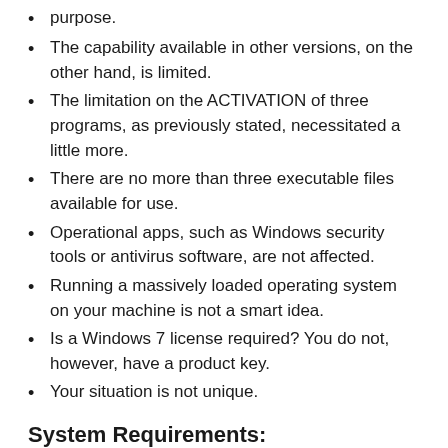purpose.
The capability available in other versions, on the other hand, is limited.
The limitation on the ACTIVATION of three programs, as previously stated, necessitated a little more.
There are no more than three executable files available for use.
Operational apps, such as Windows security tools or antivirus software, are not affected.
Running a massively loaded operating system on your machine is not a smart idea.
Is a Windows 7 license required? You do not, however, have a product key.
Your situation is not unique.
System Requirements:
If you have 64-bit RAM, you need at least 2 GB of RAM.
For 32-bit RAM, you need 1 GB RAM.